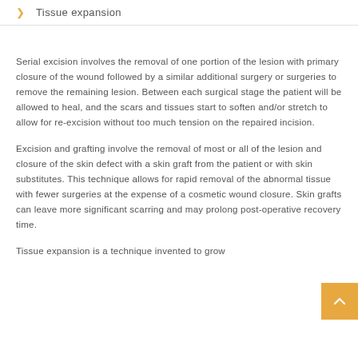Tissue expansion
Serial excision involves the removal of one portion of the lesion with primary closure of the wound followed by a similar additional surgery or surgeries to remove the remaining lesion. Between each surgical stage the patient will be allowed to heal, and the scars and tissues start to soften and/or stretch to allow for re-excision without too much tension on the repaired incision.
Excision and grafting involve the removal of most or all of the lesion and closure of the skin defect with a skin graft from the patient or with skin substitutes. This technique allows for rapid removal of the abnormal tissue with fewer surgeries at the expense of a cosmetic wound closure. Skin grafts can leave more significant scarring and may prolong post-operative recovery time.
Tissue expansion is a technique invented to grow